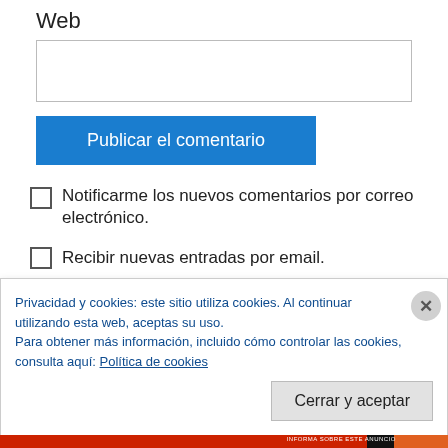Web
[text input field]
Publicar el comentario
Notificarme los nuevos comentarios por correo electrónico.
Recibir nuevas entradas por email.
Privacidad y cookies: este sitio utiliza cookies. Al continuar utilizando esta web, aceptas su uso.
Para obtener más información, incluido cómo controlar las cookies, consulta aquí: Política de cookies
Cerrar y aceptar